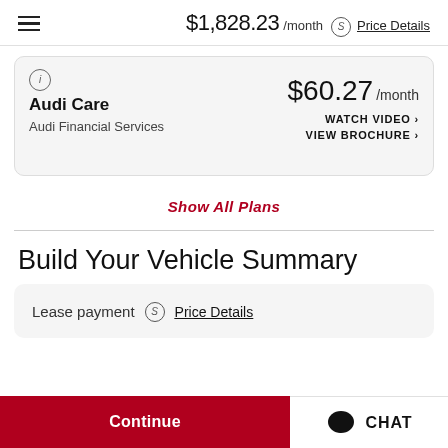$1,828.23 /month Price Details
Audi Care
Audi Financial Services
$60.27 /month
WATCH VIDEO ›
VIEW BROCHURE ›
Show All Plans
Build Your Vehicle Summary
Lease payment Price Details
Continue
CHAT